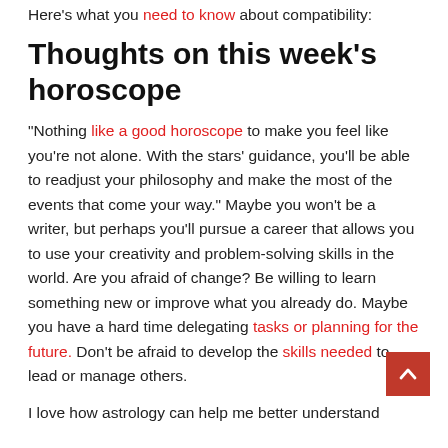Here's what you need to know about compatibility:
Thoughts on this week's horoscope
“Nothing like a good horoscope to make you feel like you’re not alone. With the stars’ guidance, you’ll be able to readjust your philosophy and make the most of the events that come your way.” Maybe you won’t be a writer, but perhaps you’ll pursue a career that allows you to use your creativity and problem-solving skills in the world. Are you afraid of change? Be willing to learn something new or improve what you already do. Maybe you have a hard time delegating tasks or planning for the future. Don’t be afraid to develop the skills needed to lead or manage others.
I love how astrology can help me better understand